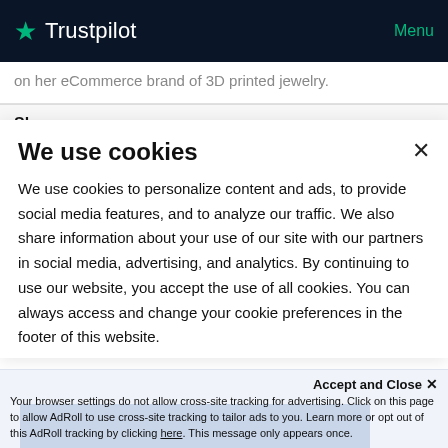Trustpilot  Menu
on her eCommerce brand of 3D printed jewelry.
Share
We use cookies
We use cookies to personalize content and ads, to provide social media features, and to analyze our traffic. We also share information about your use of our site with our partners in social media, advertising, and analytics. By continuing to use our website, you accept the use of all cookies. You can always access and change your cookie preferences in the footer of this website.
Accept and Close ✕
Your browser settings do not allow cross-site tracking for advertising. Click on this page to allow AdRoll to use cross-site tracking to tailor ads to you. Learn more or opt out of this AdRoll tracking by clicking here. This message only appears once.